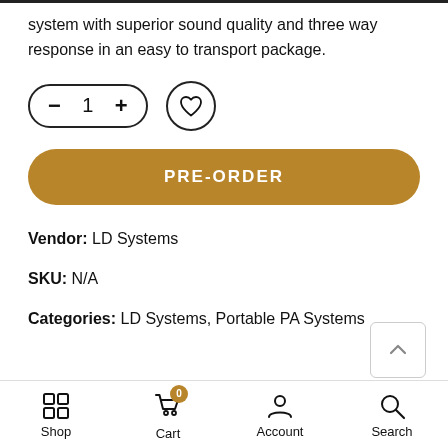system with superior sound quality and three way response in an easy to transport package.
[Figure (other): Quantity selector control with minus and plus buttons showing quantity 1, and a heart/wishlist button]
[Figure (other): PRE-ORDER button in gold/brown color with rounded corners]
Vendor: LD Systems
SKU: N/A
Categories: LD Systems, Portable PA Systems
Shop  Cart  Account  Search